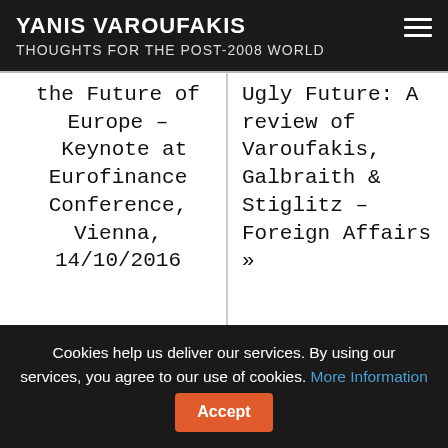YANIS VAROUFAKIS
THOUGHTS FOR THE POST-2008 WORLD
the Future of Europe – Keynote at Eurofinance Conference, Vienna, 14/10/2016
Ugly Future: A review of Varoufakis, Galbraith & Stiglitz – Foreign Affairs »
Cookies help us deliver our services. By using our services, you agree to our use of cookies. More Information Accept